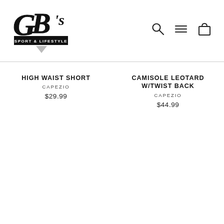[Figure (logo): GB's Sport & Lifestyle logo with stylized script lettering and a downward-pointing triangle]
[Figure (other): Navigation icons: search magnifier, hamburger menu lines, shopping bag]
HIGH WAIST SHORT
CAPEZIO
$29.99
CAMISOLE LEOTARD W/TWIST BACK
CAPEZIO
$44.99